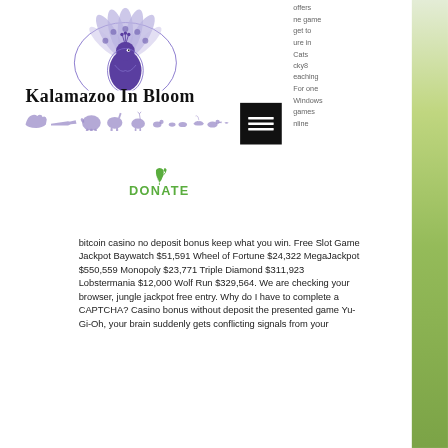[Figure (logo): Kalamazoo In Bloom logo with purple peacock and animal silhouettes]
[Figure (logo): Donate button with green leaf icon and text DONATE]
offers ne game get to ure in Cats cky8 eaching For one Windows games nline
bitcoin casino no deposit bonus keep what you win. Free Slot Game Jackpot Baywatch $51,591 Wheel of Fortune $24,322 MegaJackpot $550,559 Monopoly $23,771 Triple Diamond $311,923 Lobstermania $12,000 Wolf Run $329,564. We are checking your browser, jungle jackpot free entry. Why do I have to complete a CAPTCHA? Casino bonus without deposit the presented game Yu-Gi-Oh, your brain suddenly gets conflicting signals from your